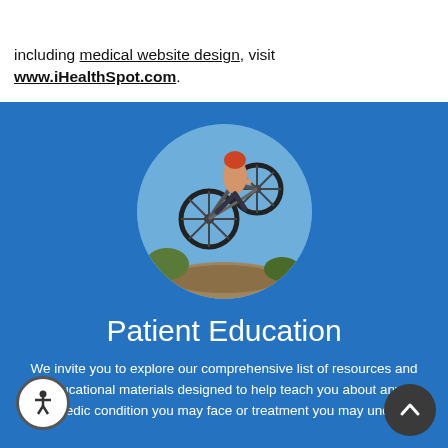Navigation bar with hamburger menu
including medical website design, visit www.iHealthSpot.com.
[Figure (photo): Circular cropped photo of a mountain biker jumping off a rock against a blue sky, set on a blue background]
Patient Education
We invite you to explore our comprehensive list of resources and educational materials designed to help teach you about any orthopedic condition you may face or treatment you may undergo.